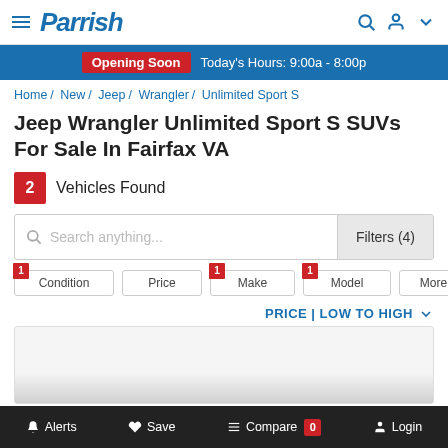Parrish
Opening Soon  Today's Hours: 9:00a - 8:00p
Home / New / Jeep / Wrangler / Unlimited Sport S
Jeep Wrangler Unlimited Sport S SUVs For Sale In Fairfax VA
2 Vehicles Found
Search anything...  Filters (4)
1 Condition
Price
1 Make
1 Model
More Filters
PRICE | LOW TO HIGH
Alerts  Save  Compare 0  Login